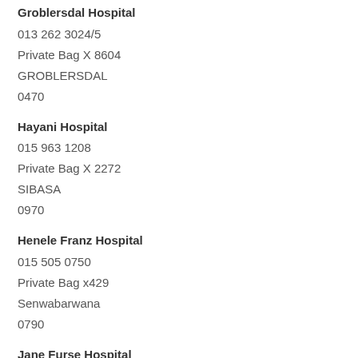Groblersdal Hospital
013 262 3024/5
Private Bag X 8604
GROBLERSDAL
0470
Hayani Hospital
015 963 1208
Private Bag X 2272
SIBASA
0970
Henele Franz Hospital
015 505 0750
Private Bag x429
Senwabarwana
0790
Jane Furse Hospital